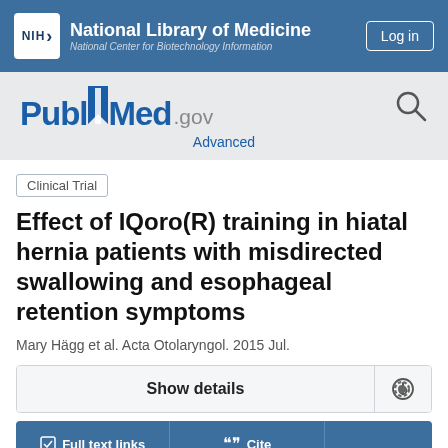NIH National Library of Medicine National Center for Biotechnology Information
[Figure (logo): PubMed.gov logo with bookmark icon and search magnifier, on gray background, with Advanced link below]
Clinical Trial
Effect of IQoro(R) training in hiatal hernia patients with misdirected swallowing and esophageal retention symptoms
Mary Hägg et al. Acta Otolaryngol. 2015 Jul.
Show details
Full text links  Cite